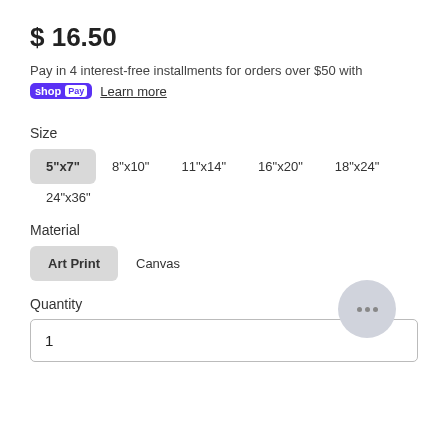$ 16.50
Pay in 4 interest-free installments for orders over $50 with
shopPay  Learn more
Size
5"x7"  8"x10"  11"x14"  16"x20"  18"x24"
24"x36"
Material
Art Print  Canvas
Quantity
1